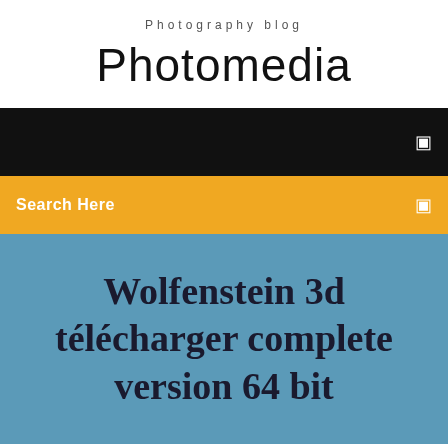Photography blog
Photomedia
[Figure (screenshot): Black navigation bar with a small icon on the right side]
Search Here
Wolfenstein 3d télécharger complete version 64 bit